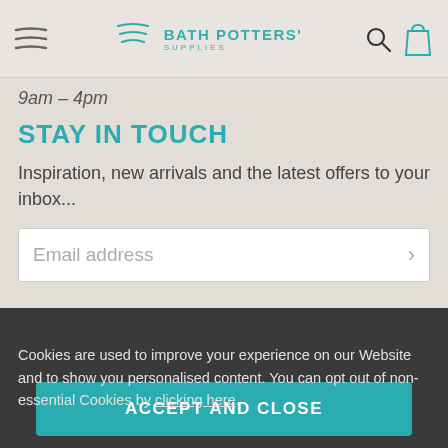Bath Potters' Supplies
9am – 4pm
STAY IN TOUCH
Inspiration, new arrivals and the latest offers to your inbox...
Email address
Cookies are used to improve your experience on our Website and to show you personalised content. You can opt out of non-essential Cookies by clicking here.
ACCEPT AND CLOSE